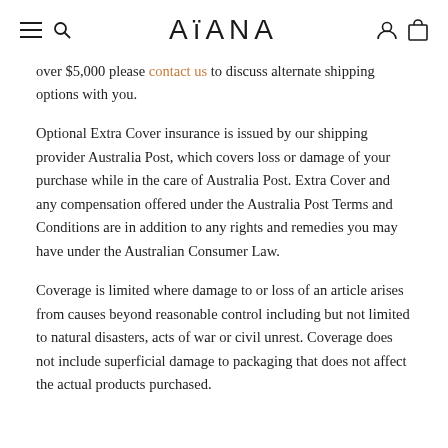AïANA — navigation header with hamburger, search, account and cart icons
over $5,000 please contact us to discuss alternate shipping options with you.
Optional Extra Cover insurance is issued by our shipping provider Australia Post, which covers loss or damage of your purchase while in the care of Australia Post. Extra Cover and any compensation offered under the Australia Post Terms and Conditions are in addition to any rights and remedies you may have under the Australian Consumer Law.
Coverage is limited where damage to or loss of an article arises from causes beyond reasonable control including but not limited to natural disasters, acts of war or civil unrest. Coverage does not include superficial damage to packaging that does not affect the actual products purchased.